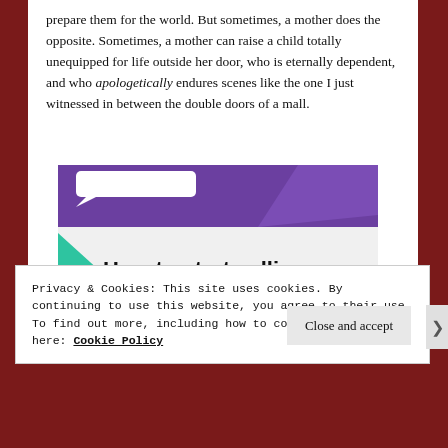prepare them for the world. But sometimes, a mother does the opposite. Sometimes, a mother can raise a child totally unequipped for life outside her door, who is eternally dependent, and who apologetically endures scenes like the one I just witnessed in between the double doors of a mall.
[Figure (illustration): Advertisement image showing 'How to start selling subscriptions online' with purple header, teal triangle and cyan quarter-circle decorative shapes on a light grey background.]
Privacy & Cookies: This site uses cookies. By continuing to use this website, you agree to their use.
To find out more, including how to control cookies, see here: Cookie Policy